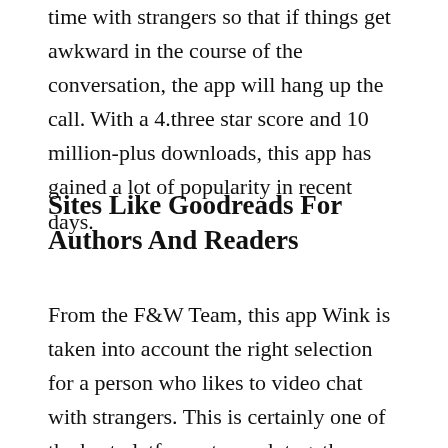time with strangers so that if things get awkward in the course of the conversation, the app will hang up the call. With a 4.three star score and 10 million-plus downloads, this app has gained a lot of popularity in recent days.
Sites Like Goodreads For Authors And Readers
From the F&W Team, this app Wink is taken into account the right selection for a person who likes to video chat with strangers. This is certainly one of the best platforms to work together with strangers from anyplace on the earth. These interactions keep them busy and distract their minds from loneliness. You can name this app as